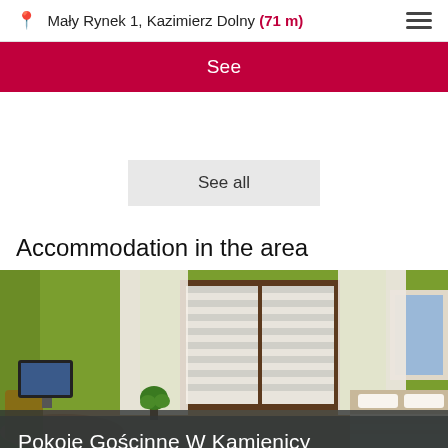Mały Rynek 1, Kazimierz Dolny (71 m)
See
See all
Accommodation in the area
[Figure (photo): Interior of a guest room with green walls, a window with striped blinds and curtains, a wooden table and chair, and a bed. Overlay text reads 'Pokoje Gościnne W Kamienicy']
Pokoje Gościnne W Kamienicy